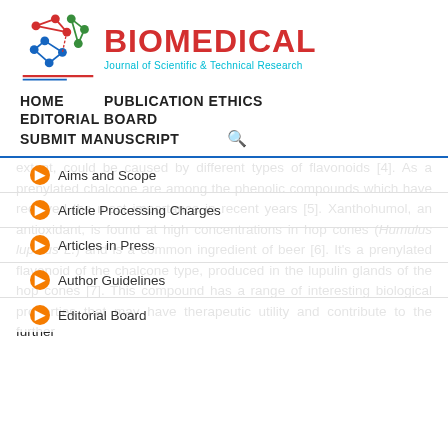[Figure (logo): Biomedical Journal of Scientific & Technical Research logo with molecular network graphic and red/blue/green colored text]
HOME    PUBLICATION ETHICS
EDITORIAL BOARD
SUBMIT MANUSCRIPT  🔍
Aims and Scope
Article Processing Charges
Articles in Press
Author Guidelines
Editorial Board
extent, could be caused by different types of flavonoids [4]. As a prenylated chalcone are among the phenolic compounds which have received the most importance in recent years [5]. Xanthohumol, an antioxidant, is found at high concentrations in hop cones (Humulus lupulus L.) and is a common ingredient of beer [6]. It's a prenylated flavonoid of the chalcone type, produced in the lupulin glands of the hop cones [7]. This compound has a range of interesting biological properties that may have therapeutic utility and contribute to the further